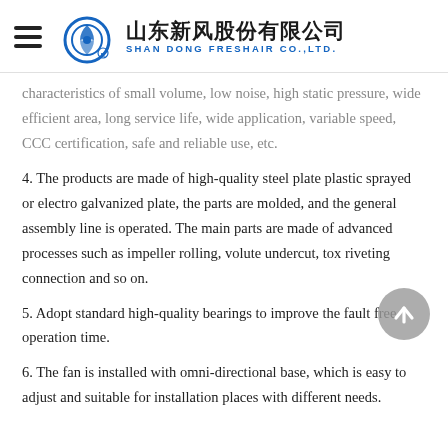山东新风股份有限公司 SHAN DONG FRESHAIR CO.,LTD.
characteristics of small volume, low noise, high static pressure, wide efficient area, long service life, wide application, variable speed, CCC certification, safe and reliable use, etc.
4. The products are made of high-quality steel plate plastic sprayed or electro galvanized plate, the parts are molded, and the general assembly line is operated. The main parts are made of advanced processes such as impeller rolling, volute undercut, tox riveting connection and so on.
5. Adopt standard high-quality bearings to improve the fault free operation time.
6. The fan is installed with omni-directional base, which is easy to adjust and suitable for installation places with different needs.